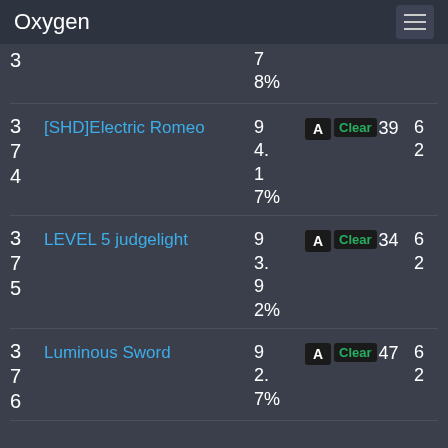Oxygen
8%
| Rank | Name | Score | Grade | Clear | Points |
| --- | --- | --- | --- | --- | --- |
| 374 | [SHD]Electric Romeo | 94.17% | A | Clear 39 | 62 |
| 375 | LEVEL 5 judgelight | 93.92% | A | Clear 34 | 62 |
| 376 | Luminous Sword | 92.7% | A | Clear 47 | 62 |